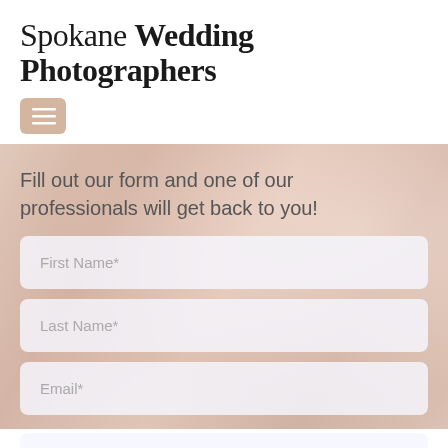Spokane Wedding Photographers
[Figure (other): Hamburger menu button with three horizontal lines on a light brown/tan background]
Fill out our form and one of our professionals will get back to you!
First Name*
Last Name*
Email*
Phone*